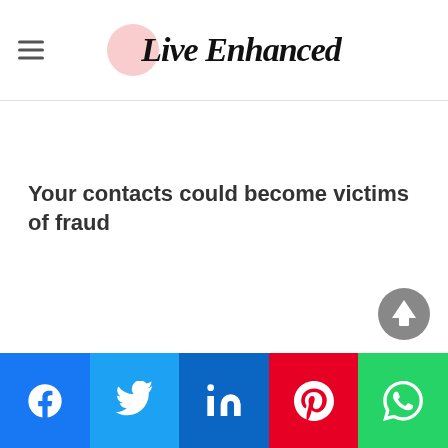Live Enhanced
Your contacts could become victims of fraud
[Figure (logo): Scroll to top button — grey circle with white upward arrow]
Social share bar: Facebook, Twitter, LinkedIn, Pinterest, WhatsApp